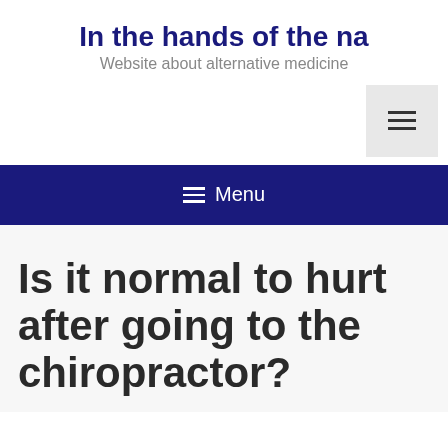In the hands of the na
Website about alternative medicine
[Figure (screenshot): Menu toggle button (hamburger icon) in a light grey square, positioned top right]
≡ Menu
Is it normal to hurt after going to the chiropractor?